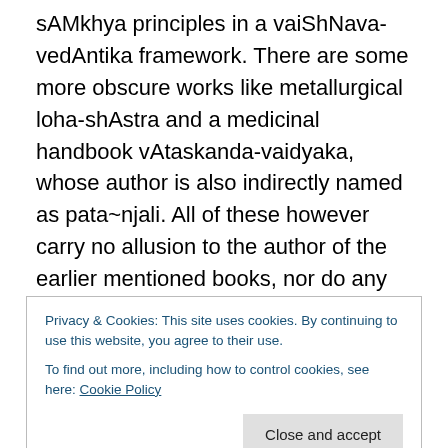sAMkhya principles in a vaiShNava-vedAntika framework. There are some more obscure works like metallurgical loha-shAstra and a medicinal handbook vAtaskanda-vaidyaka, whose author is also indirectly named as pata~njali. All of these however carry no allusion to the author of the earlier mentioned books, nor do any commentators or traditions recount these under the authorship of the famous yoga-sUtra-kAra or the mahAbhAShya-kAra. About the author of the earlier mentioned ones however, traditions and the commentators do speak about the identity of their author as a single sage
Privacy & Cookies: This site uses cookies. By continuing to use this website, you agree to their use.
To find out more, including how to control cookies, see here: Cookie Policy
Close and accept
the C.E. This celebrated bhartR^ihari was very closely